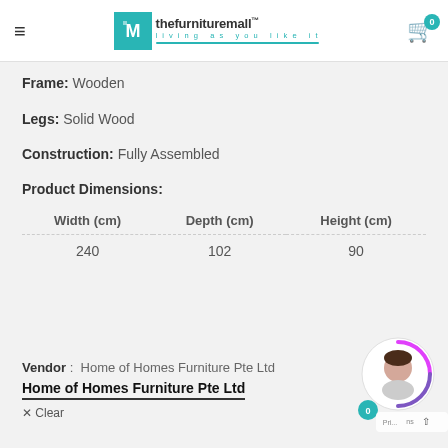thefurnituremall™ living as you like it
Frame: Wooden
Legs: Solid Wood
Construction: Fully Assembled
Product Dimensions:
| Width (cm) | Depth (cm) | Height (cm) |
| --- | --- | --- |
| 240 | 102 | 90 |
Vendor : Home of Homes Furniture Pte Ltd
Home of Homes Furniture Pte Ltd
✕ Clear